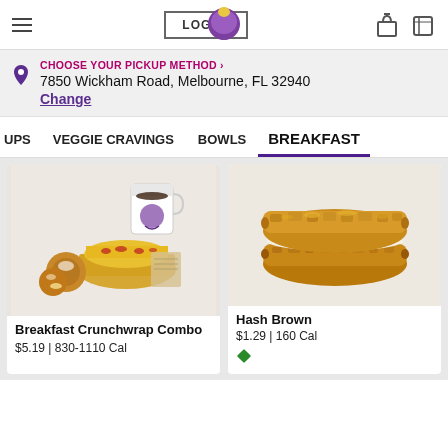LOG IN | Taco Bell | [gift icon] [card icon]
CHOOSE YOUR PICKUP METHOD >
7850 Wickham Road, Melbourne, FL 32940
Change
OUPS   VEGGIE CRAVINGS   BOWLS   BREAKFAST
[Figure (photo): Taco Bell Breakfast Crunchwrap Combo with sandwich, cinnabon delights, and coffee cup]
Breakfast Crunchwrap Combo
$5.19 | 830-1110 Cal
[Figure (photo): Taco Bell Hash Brown - two golden crispy hash brown patties stacked]
Hash Brown
$1.29 | 160 Cal